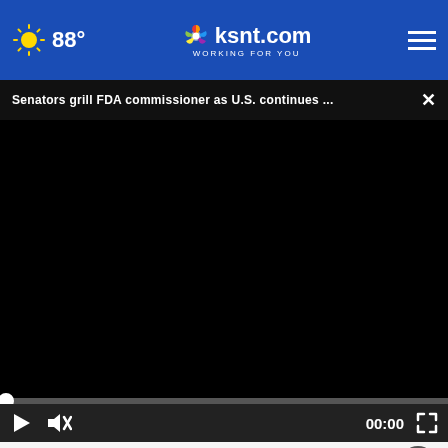88° ksnt.com WORKING FOR YOU
Senators grill FDA commissioner as U.S. continues ...
[Figure (screenshot): Black video player area, paused, showing 00:00 timestamp with play button, mute button, and fullscreen button on dark control bar. Progress bar at top with white circle handle at far left.]
in the upcoming midterm elections?
[Figure (photo): Advertisement banner: ARE YOU ON A WORLD-CHANGING PATH? DON'T MAKE THE WORLD WAIT. K-State Online logo with person studying in background.]